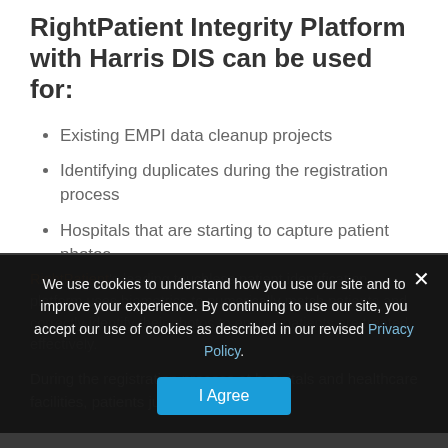RightPatient Integrity Platform with Harris DIS can be used for:
Existing EMPI data cleanup projects
Identifying duplicates during the registration process
Hospitals that are starting to capture patient photos
The impact of effective patient identity management
RightPatient's leading touchless patient identification platform uses biometrics to numerically match patients and correctly identify their photos to ensure patients are treated effectively.
During the registration process at hospitals and healthcare facilities, patients just look
We use cookies to understand how you use our site and to improve your experience. By continuing to use our site, you accept our use of cookies as described in our revised Privacy Policy.